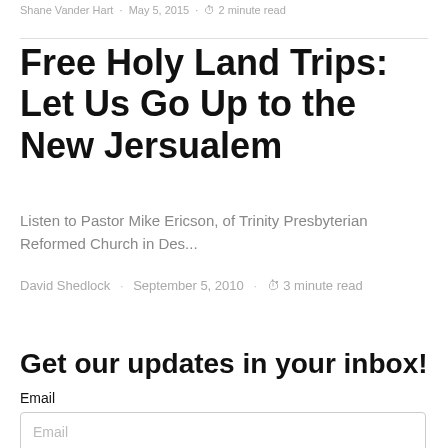Shane Vander Hart · May 5, 2015 · ⏱ 2 minute read
Free Holy Land Trips: Let Us Go Up to the New Jersualem
Listen to Pastor Mike Ericson, of Trinity Presbyterian Reformed Church in Des...
David Shedlock · September 5, 2010 · ⏱ 3 minute read
Get our updates in your inbox!
Email
Email
Subscribe